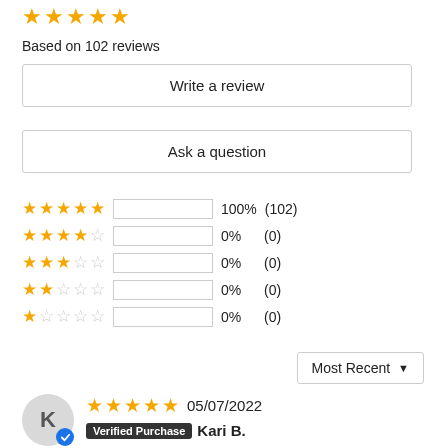[Figure (other): 5 gold stars rating display]
Based on 102 reviews
Write a review
Ask a question
| Stars | Bar | Percent | Count |
| --- | --- | --- | --- |
| 5 stars | 100% filled | 100% | (102) |
| 4 stars | 0% filled | 0% | (0) |
| 3 stars | 0% filled | 0% | (0) |
| 2 stars | 0% filled | 0% | (0) |
| 1 star | 0% filled | 0% | (0) |
Most Recent ▼
[Figure (other): Reviewer avatar circle with letter K and blue verified badge]
05/07/2022
[Figure (other): 5 gold stars for reviewer Kari B.]
Verified Purchase  Kari B.
My favorite new coffee cup - Great